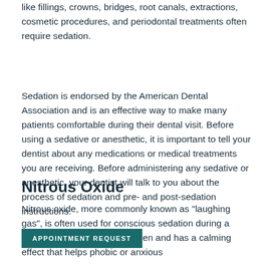like fillings, crowns, bridges, root canals, extractions, cosmetic procedures, and periodontal treatments often require sedation.
Sedation is endorsed by the American Dental Association and is an effective way to make many patients comfortable during their dental visit. Before using a sedative or anesthetic, it is important to tell your dentist about any medications or medical treatments you are receiving. Before administering any sedative or anesthetic, your dentist will talk to you about the process of sedation and pre- and post-sedation instructions.
Nitrous Oxide
Nitrous oxide, more commonly known as "laughing gas", is often used for conscious sedation during a dental visit. mixture with oxygen and has a calming effect that helps phobic or anxious